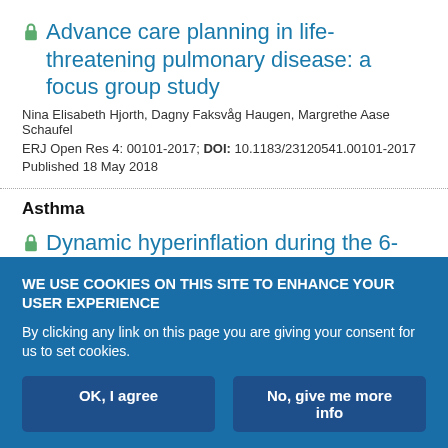Advance care planning in life-threatening pulmonary disease: a focus group study
Nina Elisabeth Hjorth, Dagny Faksvåg Haugen, Margrethe Aase Schaufel
ERJ Open Res 4: 00101-2017; DOI: 10.1183/23120541.00101-2017
Published 18 May 2018
Asthma
Dynamic hyperinflation during the 6-min walk test in severely asthmatic subjects
Alida Benfante, Fabiano Di Marco, Silvia Terraneo, Stefano Centanni, Nicola Scichilone
WE USE COOKIES ON THIS SITE TO ENHANCE YOUR USER EXPERIENCE
By clicking any link on this page you are giving your consent for us to set cookies.